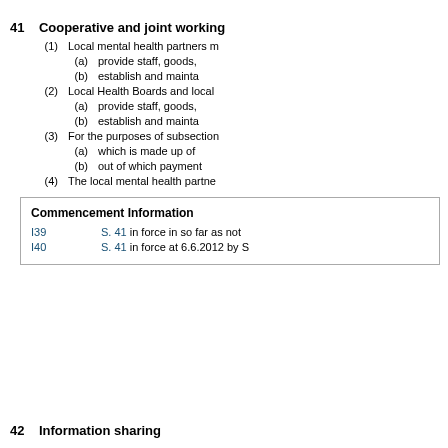41    Cooperative and joint working
(1)    Local mental health partners m
(a)    provide staff, goods,
(b)    establish and mainta
(2)    Local Health Boards and local
(a)    provide staff, goods,
(b)    establish and mainta
(3)    For the purposes of subsection
(a)    which is made up of
(b)    out of which payment
(4)    The local mental health partne
| Commencement Information |  |  |
| --- | --- | --- |
| I39 | S. 41 in force in so far as not |  |
| I40 | S. 41 in force at 6.6.2012 by S |  |
42    Information sharing